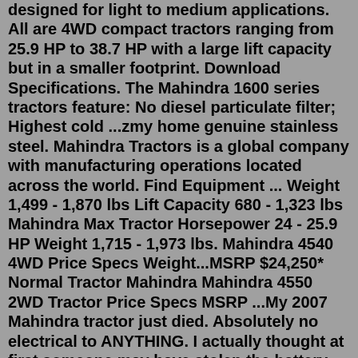designed for light to medium applications. All are 4WD compact tractors ranging from 25.9 HP to 38.7 HP with a large lift capacity but in a smaller footprint. Download Specifications. The Mahindra 1600 series tractors feature: No diesel particulate filter; Highest cold ...zmy home genuine stainless steel. Mahindra Tractors is a global company with manufacturing operations located across the world. Find Equipment ... Weight 1,499 - 1,870 lbs Lift Capacity 680 - 1,323 lbs Mahindra Max Tractor Horsepower 24 - 25.9 HP Weight 1,715 - 1,973 lbs. Mahindra 4540 4WD Price Specs Weight...MSRP $24,250* Normal Tractor Mahindra Mahindra 4550 2WD Tractor Price Specs MSRP ...My 2007 Mahindra tractor just died. Absolutely no electrical to ANYTHING. I actually thought at first someone may have stolen the battery because it was comp...Canton, Georgia 30114. Phone: (678) 776-5999. View Details. Email Seller Video Chat. Qualifies for Warranty. 196 Hours, Front end loader, Mower, Clean tractor, very well upkept call for more information. Get Shipping